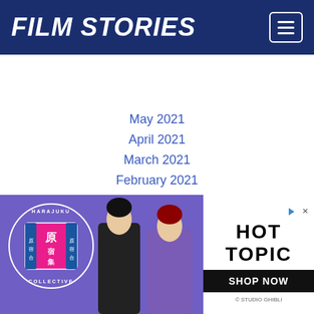FILM STORIES
May 2021
April 2021
March 2021
February 2021
January 2021
December 2020
November 2020
October 2020
September 2020
August 2020
July 2020
June 2020
May 2020
April 2020
[Figure (advertisement): Harajuku Collective advertisement featuring two female figures in purple/black outfits with Hot Topic branding and Shop Now button]